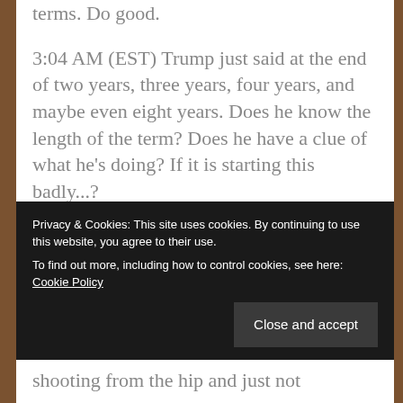help no one. Organize for the mid terms. Do good.
3:04 AM (EST) Trump just said at the end of two years, three years, four years, and maybe even eight years. Does he know the length of the term? Does he have a clue of what he's doing? If it is starting this badly...?
3:00 AM (EST) I had heard that Trump
Privacy & Cookies: This site uses cookies. By continuing to use this website, you agree to their use.
To find out more, including how to control cookies, see here: Cookie Policy
shooting from the hip and just not